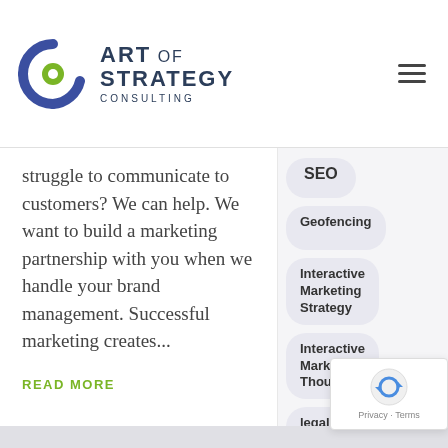[Figure (logo): Art of Strategy Consulting logo with circular icon in blue and green, and text 'ART OF STRATEGY CONSULTING']
struggle to communicate to customers? We can help. We want to build a marketing partnership with you when we handle your brand management. Successful marketing creates...
READ MORE
SEO
Geofencing
Interactive Marketing Strategy
Interactive Marketing Thoughts
legalmarke
le